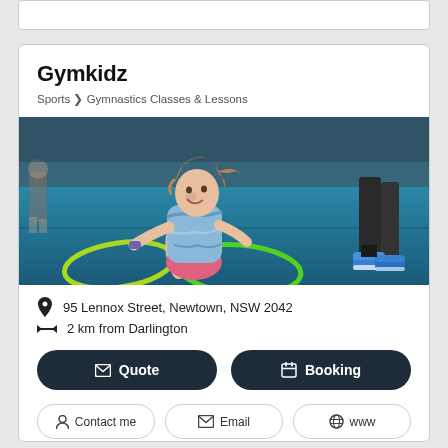Gymkidz
Sports > Gymnastics Classes & Lessons
[Figure (photo): A young girl in a blue tie-dye shirt and pink shorts sitting on a blue gymnastics mat surrounded by green hula hoops, with an adult's legs visible on the right side]
95 Lennox Street, Newtown, NSW 2042
2 km from Darlington
Quote
Booking
Contact me
Email
www